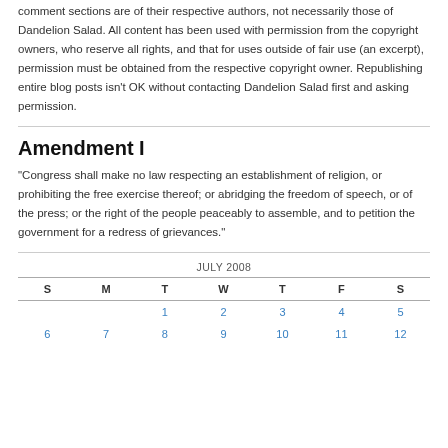comment sections are of their respective authors, not necessarily those of Dandelion Salad. All content has been used with permission from the copyright owners, who reserve all rights, and that for uses outside of fair use (an excerpt), permission must be obtained from the respective copyright owner. Republishing entire blog posts isn't OK without contacting Dandelion Salad first and asking permission.
Amendment I
"Congress shall make no law respecting an establishment of religion, or prohibiting the free exercise thereof; or abridging the freedom of speech, or of the press; or the right of the people peaceably to assemble, and to petition the government for a redress of grievances."
| S | M | T | W | T | F | S |
| --- | --- | --- | --- | --- | --- | --- |
|  |  | 1 | 2 | 3 | 4 | 5 |
| 6 | 7 | 8 | 9 | 10 | 11 | 12 |